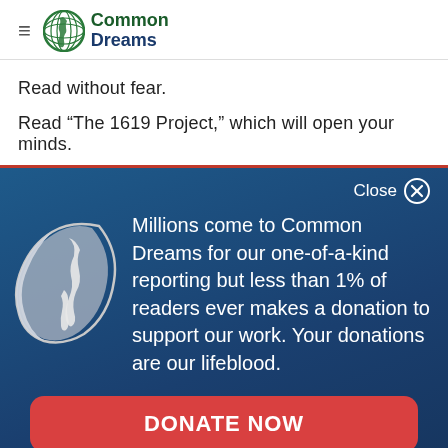Common Dreams
Read without fear.
Read “The 1619 Project,” which will open your minds.
[Figure (other): Common Dreams donation modal overlay with globe icon, text about reader donations, and a DONATE NOW button]
Millions come to Common Dreams for our one-of-a-kind reporting but less than 1% of readers ever makes a donation to support our work. Your donations are our lifeblood.
DONATE NOW